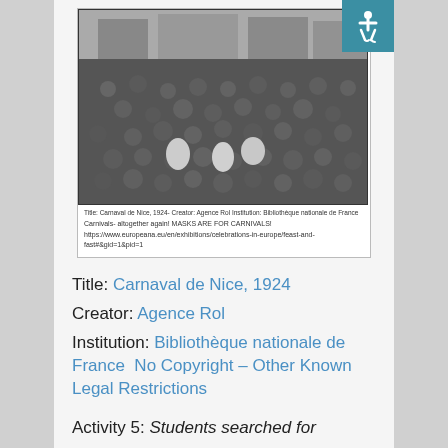[Figure (screenshot): Screenshot of a web page showing a black-and-white historical photograph of a large carnival crowd (Carnaval de Nice, 1924) with a caption and URL link below the image.]
Title: Carnaval de Nice, 1924- Creator: Agence Rol Institution: Bibliothèque nationale de France
Carnivals- altogether again! MASKS ARE FOR CARNIVALS!
https://www.europeana.eu/en/exhibitions/celebrations-in-europe/feast-and-fast#&gid=1&pid=1
Title: Carnaval de Nice, 1924
Creator: Agence Rol
Institution: Bibliothèque nationale de France  No Copyright – Other Known Legal Restrictions
Activity 5: Students searched for